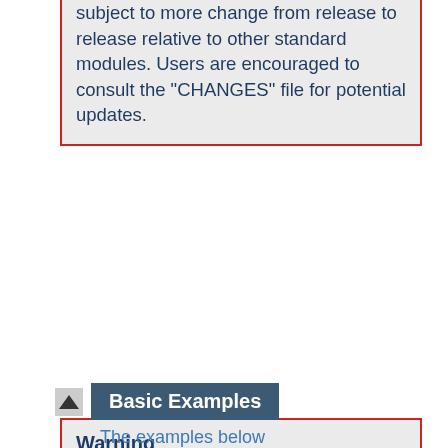subject to more change from release to release relative to other standard modules. Users are encouraged to consult the "CHANGES" file for potential updates.
Warning
Do not enable proxying until you have secured your server. Open proxy servers are dangerous both to your network and to the Internet at large.
Basic Examples
The examples below